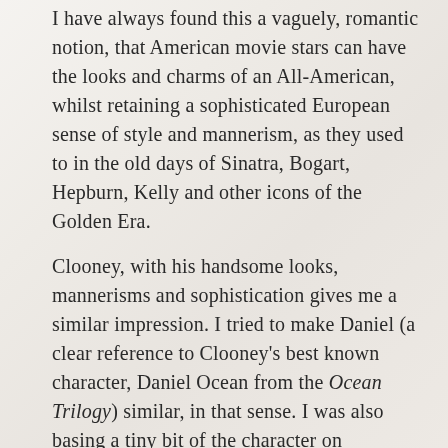I have always found this a vaguely, romantic notion, that American movie stars can have the looks and charms of an All-American, whilst retaining a sophisticated European sense of style and mannerism, as they used to in the old days of Sinatra, Bogart, Hepburn, Kelly and other icons of the Golden Era.
Clooney, with his handsome looks, mannerisms and sophistication gives me a similar impression. I tried to make Daniel (a clear reference to Clooney's best known character, Daniel Ocean from the Ocean Trilogy) similar, in that sense. I was also basing a tiny bit of the character on Napoleon Solo from the film The Man from U.N.C.L.E. (2010) which features a character exactly as I described … an American